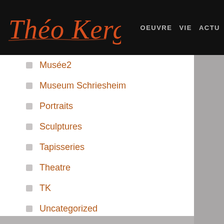Théo Kerg — OEUVRE  VIE  ACTU
Musée2
Museum Schriesheim
Portraits
Sculptures
Tapisseries
Theatre
TK
Uncategorized
Vitraux
Meta
Log in
Entries feed
Comments feed